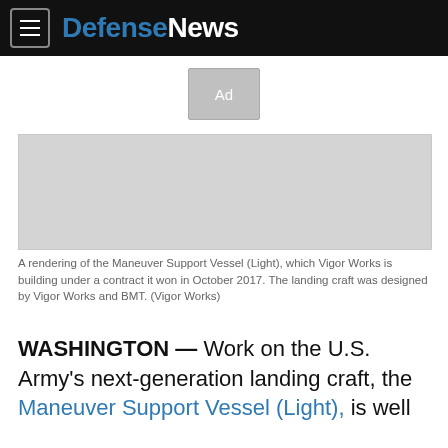DefenseNews
[Figure (other): Gray advertisement placeholder box labeled 'Ad']
[Figure (photo): A rendering of the Maneuver Support Vessel (Light), shown as a gray image placeholder]
A rendering of the Maneuver Support Vessel (Light), which Vigor Works is building under a contract it won in October 2017. The landing craft was designed by Vigor Works and BMT. (Vigor Works)
WASHINGTON — Work on the U.S. Army's next-generation landing craft, the Maneuver Support Vessel (Light), is well